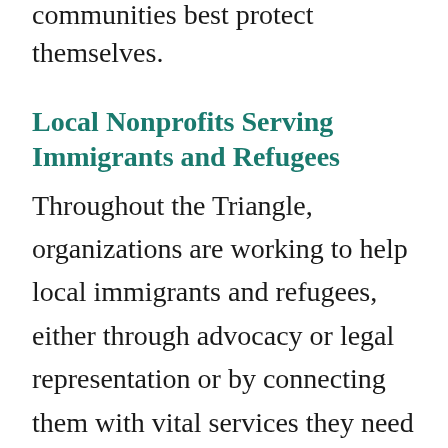communities best protect themselves.
Local Nonprofits Serving Immigrants and Refugees
Throughout the Triangle, organizations are working to help local immigrants and refugees, either through advocacy or legal representation or by connecting them with vital services they need to acclimate to their new communities. If you’re looking for a way to help, these are all worthwhile nonprofits that could use your support.